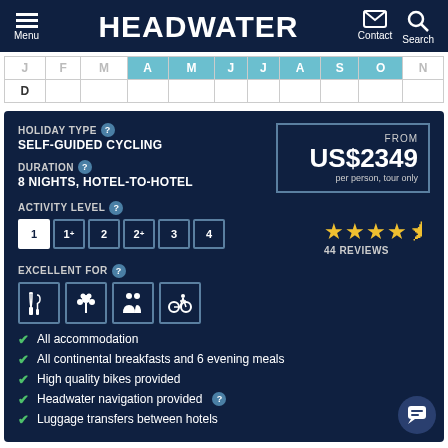HEADWATER — Menu, Contact, Search
| J | F | M | A | M | J | J | A | S | O | N |
| --- | --- | --- | --- | --- | --- | --- | --- | --- | --- | --- |
| J | F | M | A | M | J | J | A | S | O | N |
| D |  |  |  |  |  |  |  |  |  |  |
HOLIDAY TYPE — SELF-GUIDED CYCLING
DURATION — 8 NIGHTS, HOTEL-TO-HOTEL
FROM US$2349 per person, tour only
ACTIVITY LEVEL — 1, 1+, 2, 2+, 3, 4
44 REVIEWS
EXCELLENT FOR
All accommodation
All continental breakfasts and 6 evening meals
High quality bikes provided
Headwater navigation provided
Luggage transfers between hotels